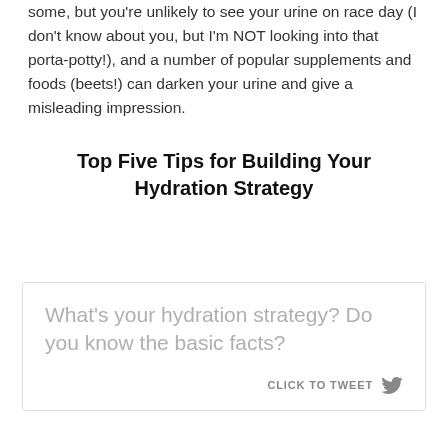some, but you're unlikely to see your urine on race day (I don't know about you, but I'm NOT looking into that porta-potty!), and a number of popular supplements and foods (beets!) can darken your urine and give a misleading impression.
Top Five Tips for Building Your Hydration Strategy
What's your hydration strategy? Do you know the basic facts?